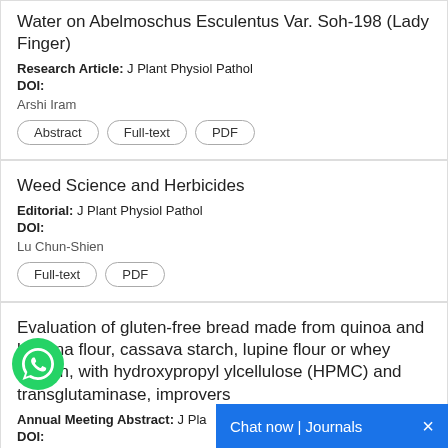Water on Abelmoschus Esculentus Var. Soh-198 (Lady Finger)
Research Article: J Plant Physiol Pathol
DOI:
Arshi Iram
Weed Science and Herbicides
Editorial: J Plant Physiol Pathol
DOI:
Lu Chun-Shien
Evaluation of gluten-free bread made from quinoa and banana flour, cassava starch, lupine flour or whey protein, with hydroxypropyl ylcellulose (HPMC) and transglutaminase, improvers
Annual Meeting Abstract: J Plan
DOI: